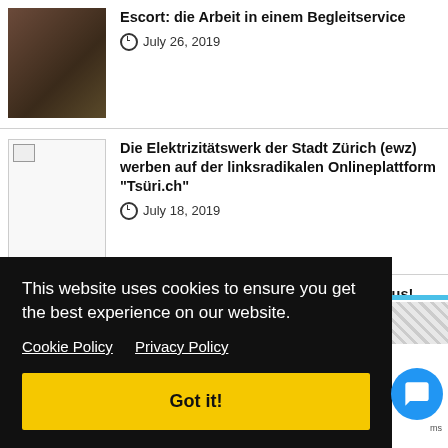[Figure (photo): Photo of a woman in white bikini lying on dark background]
Escort: die Arbeit in einem Begleitservice
July 26, 2019
[Figure (photo): Broken image placeholder]
Die Elektrizitätswerk der Stadt Zürich (ewz) werben auf der linksradikalen Onlineplattform "Tsüri.ch"
July 18, 2019
[Figure (photo): Photo of people at an event, partially visible]
Du kannst etwas? Dann mach was daraus!
July 10, 2019
This website uses cookies to ensure you get the best experience on our website.
Cookie Policy    Privacy Policy
Got it!